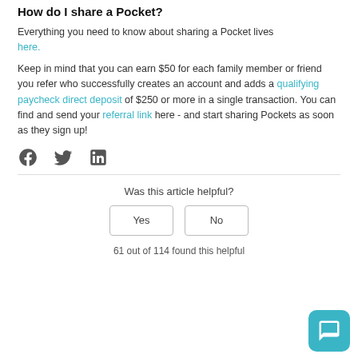How do I share a Pocket?
Everything you need to know about sharing a Pocket lives here.
Keep in mind that you can earn $50 for each family member or friend you refer who successfully creates an account and adds a qualifying paycheck direct deposit of $250 or more in a single transaction. You can find and send your referral link here - and start sharing Pockets as soon as they sign up!
[Figure (other): Social share icons: Facebook, Twitter, LinkedIn]
Was this article helpful?
Yes | No buttons
61 out of 114 found this helpful